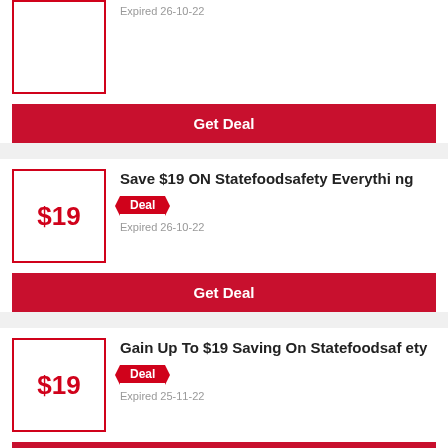Expired 26-10-22
Get Deal
Save $19 ON Statefoodsafety Everything
Deal
Expired 26-10-22
Get Deal
Gain Up To $19 Saving On Statefoodsafety
Deal
Expired 25-11-22
Get Deal
FREE Resources At Statefoodsafety Co